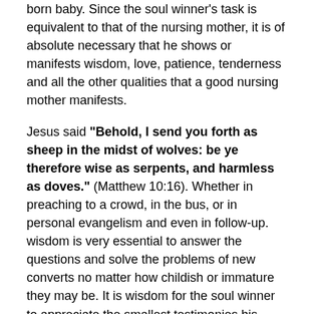born baby. Since the soul winner's task is equivalent to that of the nursing mother, it is of absolute necessary that he shows or manifests wisdom, love, patience, tenderness and all the other qualities that a good nursing mother manifests.
Jesus said "Behold, I send you forth as sheep in the midst of wolves: be ye therefore wise as serpents, and harmless as doves." (Matthew 10:16). Whether in preaching to a crowd, in the bus, or in personal evangelism and even in follow-up. wisdom is very essential to answer the questions and solve the problems of new converts no matter how childish or immature they may be. It is wisdom for the soul winner to appreciate the smallest testimonies his converts have to share with him. The more the soul winner appreciates the little testimony his convert has, the more convert is strengthened and encouraged.
Jesus did exactly that in Luke chapter ten verse ten to nineteen, when the seventy He had sent out to preach the gospel came back with testimonies of what the Lord and done through them.  Jesus encouraged them and